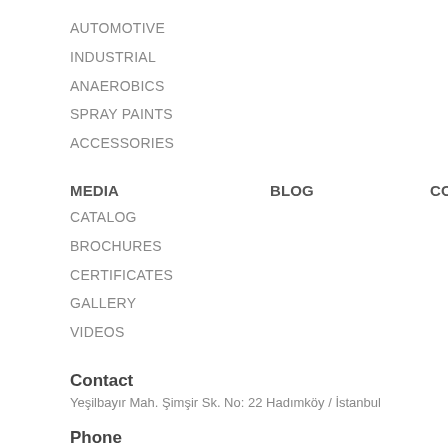AUTOMOTIVE
INDUSTRIAL
ANAEROBICS
SPRAY PAINTS
ACCESSORIES
MEDIA
BLOG
CONTACT
CATALOG
BROCHURES
CERTIFICATES
GALLERY
VIDEOS
Contact
Yeşilbayır Mah. Şimşir Sk. No: 22 Hadımköy / İstanbul
Phone